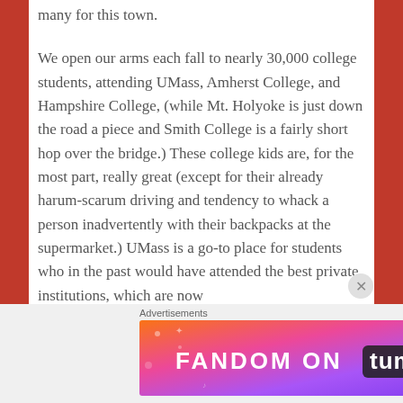many for this town.
We open our arms each fall to nearly 30,000 college students, attending UMass, Amherst College, and Hampshire College, (while Mt. Holyoke is just down the road a piece and Smith College is a fairly short hop over the bridge.) These college kids are, for the most part, really great (except for their already harum-scarum driving and tendency to whack a person inadvertently with their backpacks at the supermarket.) UMass is a go-to place for students who in the past would have attended the best private institutions, which are now
Advertisements
[Figure (other): FANDOM ON tumblr advertisement banner with colorful gradient background (orange, pink, purple) and decorative icons]